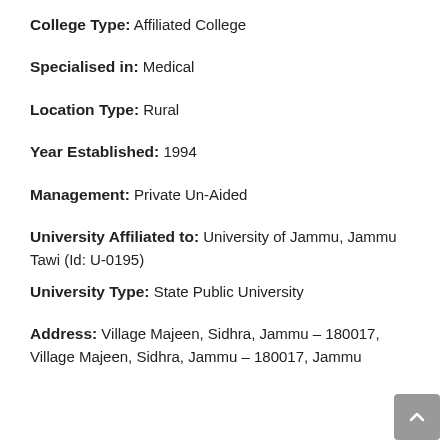College Type: Affiliated College
Specialised in: Medical
Location Type: Rural
Year Established: 1994
Management: Private Un-Aided
University Affiliated to: University of Jammu, Jammu Tawi (Id: U-0195)
University Type: State Public University
Address: Village Majeen, Sidhra, Jammu – 180017, Village Majeen, Sidhra, Jammu – 180017, Jammu